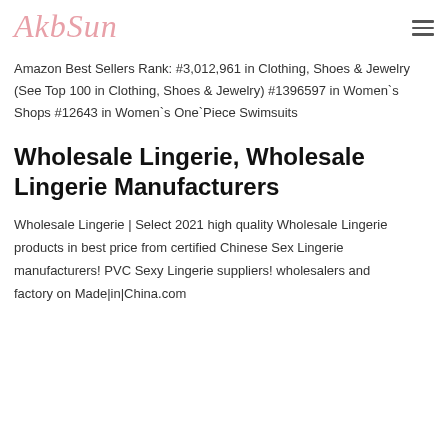AkbSun
Amazon Best Sellers Rank: #3,012,961 in Clothing, Shoes & Jewelry (See Top 100 in Clothing, Shoes & Jewelry) #1396597 in Women's Shops #12643 in Women's One Piece Swimsuits
Wholesale Lingerie, Wholesale Lingerie Manufacturers
Wholesale Lingerie | Select 2021 high quality Wholesale Lingerie products in best price from certified Chinese Sex Lingerie manufacturers! PVC Sexy Lingerie suppliers! wholesalers and factory on Made|in|China.com